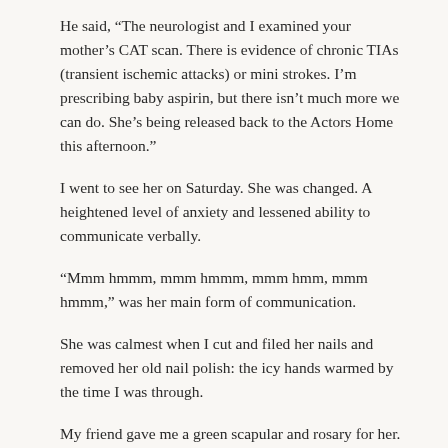He said, “The neurologist and I examined your mother’s CAT scan. There is evidence of chronic TIAs (transient ischemic attacks) or mini strokes. I’m prescribing baby aspirin, but there isn’t much more we can do. She’s being released back to the Actors Home this afternoon.”
I went to see her on Saturday. She was changed. A heightened level of anxiety and lessened ability to communicate verbally.
“Mmm hmmm, mmm hmmm, mmm hmm, mmm hmmm,” was her main form of communication.
She was calmest when I cut and filed her nails and removed her old nail polish: the icy hands warmed by the time I was through.
My friend gave me a green scapular and rosary for her. At